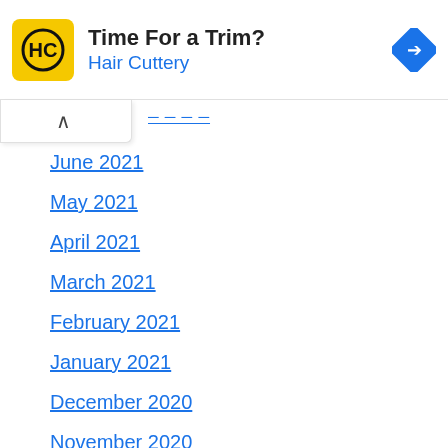[Figure (screenshot): Hair Cuttery ad banner with yellow logo containing HC letters, title 'Time For a Trim?', subtitle 'Hair Cuttery' in blue, and a blue diamond navigation icon on the right]
June 2021
May 2021
April 2021
March 2021
February 2021
January 2021
December 2020
November 2020
October 2020
September 2020